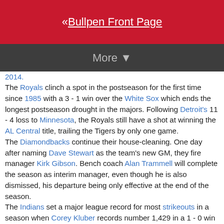« Bullpen Front Page
More ▼
2014.
The Royals clinch a spot in the postseason for the first time since 1985 with a 3 - 1 win over the White Sox which ends the longest postseason drought in the majors. Following Detroit's 11 - 4 loss to Minnesota, the Royals still have a shot at winning the AL Central title, trailing the Tigers by only one game.
The Diamondbacks continue their house-cleaning. One day after naming Dave Stewart as the team's new GM, they fire manager Kirk Gibson. Bench coach Alan Trammell will complete the season as interim manager, even though he is also dismissed, his departure being only effective at the end of the season.
The Indians set a major league record for most strikeouts in a season when Corey Kluber records number 1,429 in a 1 - 0 win over the Rays. The record was set by the Tigers only last year. Kluber strikes out 11 in 8 innings to finish the year with